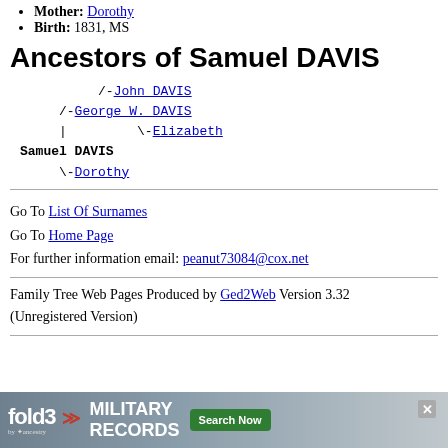Mother: Dorothy
Birth: 1831, MS
Ancestors of Samuel DAVIS
[Figure (other): Genealogical ancestor tree for Samuel DAVIS showing: /-John DAVIS, /-George W. DAVIS, | \-Elizabeth, Samuel DAVIS, \-Dorothy]
Go To List Of Surnames
Go To Home Page
For further information email: peanut73084@cox.net
Family Tree Web Pages Produced by Ged2Web Version 3.32 (Unregistered Version)
[Figure (infographic): fold3 Military Records advertisement banner with Search Now button]